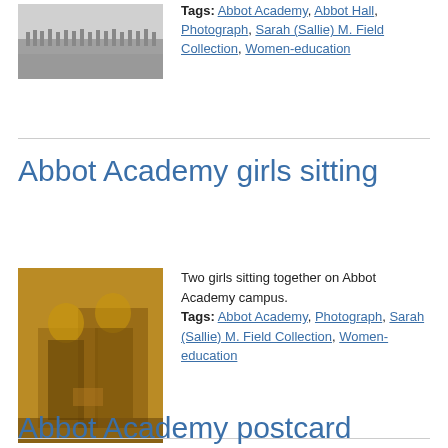[Figure (photo): Black and white photograph of a group of girls at Abbot Academy, Abbot Hall]
Tags: Abbot Academy, Abbot Hall, Photograph, Sarah (Sallie) M. Field Collection, Women-education
Abbot Academy girls sitting
[Figure (photo): Sepia-toned photograph of two girls sitting together on Abbot Academy campus]
Two girls sitting together on Abbot Academy campus.
Tags: Abbot Academy, Photograph, Sarah (Sallie) M. Field Collection, Women-education
Abbot Academy postcard